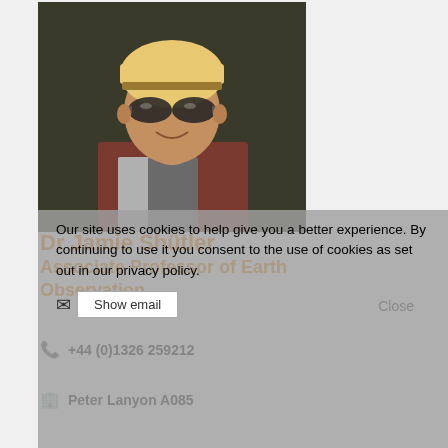[Figure (photo): Profile photo of Dr Jamie Shütler wearing sunglasses and a helmet, outdoors, smiling]
Dr Jamie Shütler
Associate Professor of Earth Observation
Our site uses cookies to help give you a better experience. By continuing to use it you consent to the use of cookies as set out in our privacy policy.
Show email
Close
+44 (0)1326 259212
Peter Lanyon A085